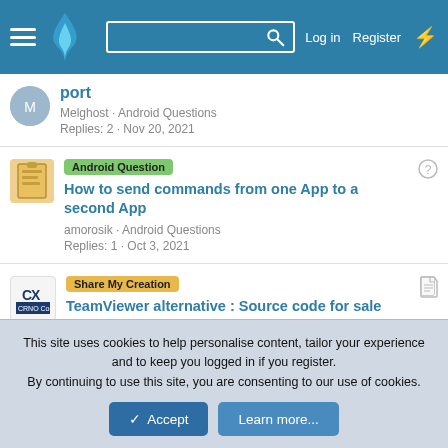Navigation bar with logo, search, Log in, Register
port — Melghost · Android Questions — Replies: 2 · Nov 20, 2021
Android Question — How to send commands from one App to a second App — amorosik · Android Questions — Replies: 1 · Oct 3, 2021
Share My Creation — TeamViewer alternative : Source code for sale — sfsameer · Share Your Creations — Replies: 714 · Mar 21, 2022
Android Question — Variable table name through
This site uses cookies to help personalise content, tailor your experience and to keep you logged in if you register. By continuing to use this site, you are consenting to our use of cookies.